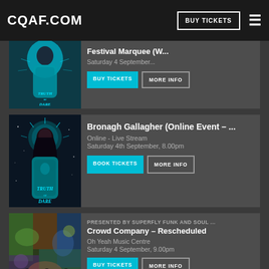CQAF.COM | BUY TICKETS
Festival Marquee (W... - Saturday 4 September...
[Figure (photo): Illustrated artwork showing a woman in teal dress with 'Truth or Dare' text]
BUY TICKETS | MORE INFO
[Figure (photo): Illustrated artwork of a woman with halo with 'Truth or Dare' text, Bronagh Gallagher online event]
Bronagh Gallagher (Online Event – ...
Online - Live Stream
Saturday 4th September, 8.00pm
BOOK TICKETS | MORE INFO
[Figure (photo): Band photo of Crowd Company in front of colourful mural]
PRESENTED BY SUPERFLY FUNK AND SOUL ...
Crowd Company – Rescheduled
Oh Yeah Music Centre
Saturday 4 September, 9.00pm
BUY TICKETS | MORE INFO
[Figure (photo): Photos of Kerri Ni Dochartaigh and Annemarie N...]
Kerri Ni Dochartaigh & Annemarie N...
Deer's Head Music Hall
Sunday 5 September, 2.00pm
BUY TICKETS | MORE INFO